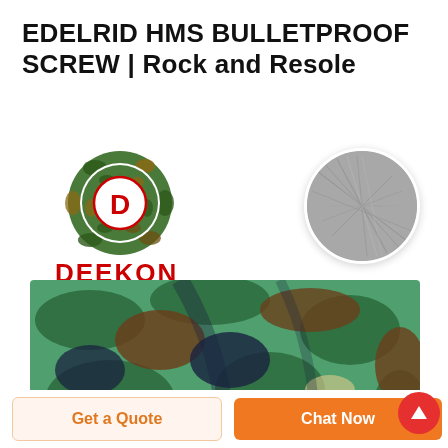EDELRID HMS BULLETPROOF SCREW | Rock and Resole
[Figure (logo): DEEKON brand logo: concentric circles with camouflage pattern and red D letter in center, with DEEKON text in red below]
[Figure (photo): Circular cropped photo showing grey textured fabric close-up]
[Figure (photo): Camouflage fabric photo showing green, brown, beige and dark blue camouflage pattern on draped fabric]
Get a Quote
Chat Now